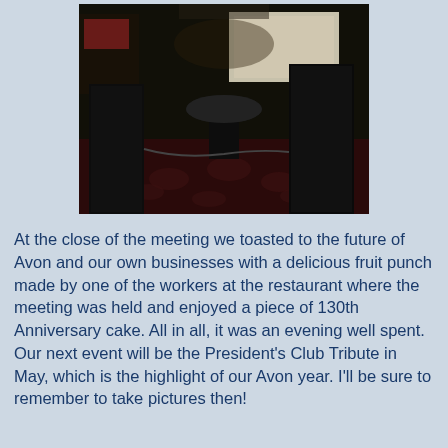[Figure (photo): Dark photograph of a conference/meeting room showing black speaker equipment, a round table, and a projection screen in the background, with a patterned carpet on the floor.]
At the close of the meeting we toasted to the future of Avon and our own businesses with a delicious fruit punch made by one of the workers at the restaurant where the meeting was held and enjoyed a piece of 130th Anniversary cake. All in all, it was an evening well spent. Our next event will be the President's Club Tribute in May, which is the highlight of our Avon year. I'll be sure to remember to take pictures then!